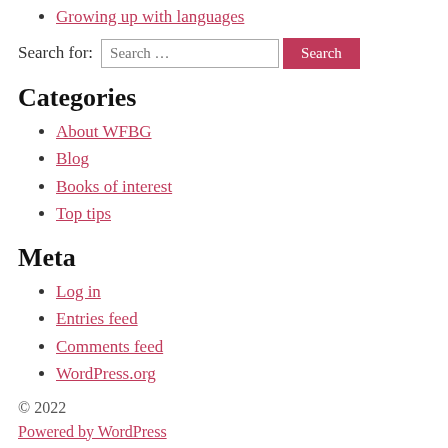Growing up with languages
Search for: [Search input] [Search button]
Categories
About WFBG
Blog
Books of interest
Top tips
Meta
Log in
Entries feed
Comments feed
WordPress.org
© 2022
Powered by WordPress
To the top ↑ Up ↑